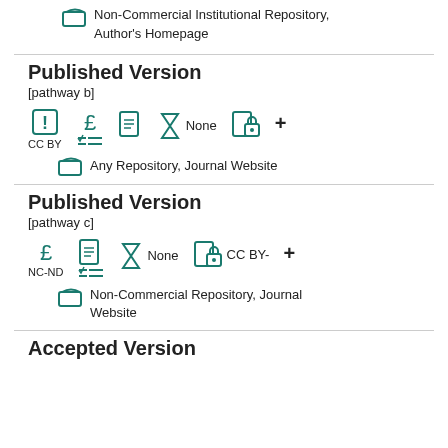Non-Commercial Institutional Repository, Author's Homepage
Published Version
[pathway b]
[Figure (infographic): Row of teal icons: exclamation mark, pound sign with checklist, document, hourglass with 'None', lock-document with plus. Below icons: labels CC BY and checklist icon.]
Any Repository, Journal Website
Published Version
[pathway c]
[Figure (infographic): Row of teal icons: pound sign, document with checklist, hourglass with 'None', lock-document with 'CC BY-', plus. Below icons: label NC-ND and checklist icon.]
Non-Commercial Repository, Journal Website
Accepted Version